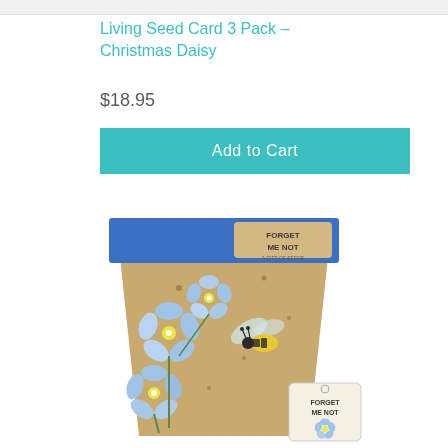Living Seed Card 3 Pack - Christmas Daisy
$18.95
Add to Cart
[Figure (photo): A seed gift card packet shaped like a flower pot, kraft brown color with blue header, decorated with illustrated forget-me-not blue flowers and a bee. A small tag labeled 'FORGET ME NOT' is attached. The label on the packet reads 'FORGET ME NOT - A GIFT OF SEEDS'.]